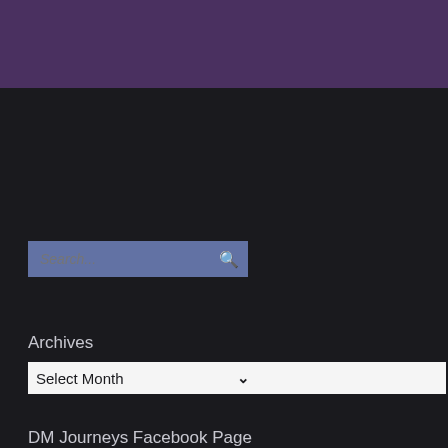[Figure (other): Dark purple/mauve header banner background]
[Figure (other): Search input field with magnifying glass icon on dark background]
Archives
[Figure (other): Select Month dropdown control]
DM Journeys Facebook Page
[Figure (other): Follow Denise's Motorcycle Journeys button in teal/cyan color]